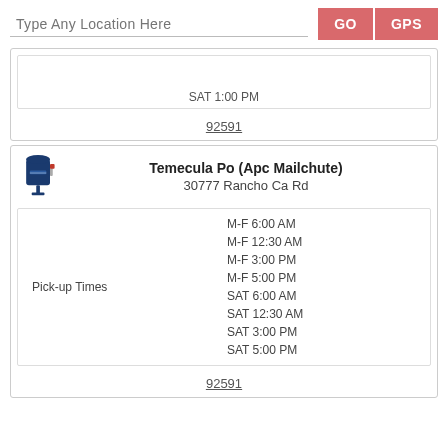Type Any Location Here
GO
GPS
SAT 1:00 PM
92591
Temecula Po (Apc Mailchute)
30777 Rancho Ca Rd
| Pick-up Times |  |
| --- | --- |
|  | M-F 6:00 AM |
|  | M-F 12:30 AM |
|  | M-F 3:00 PM |
|  | M-F 5:00 PM |
| Pick-up Times | SAT 6:00 AM |
|  | SAT 12:30 AM |
|  | SAT 3:00 PM |
|  | SAT 5:00 PM |
92591